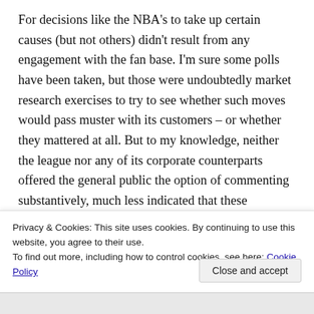For decisions like the NBA's to take up certain causes (but not others) didn't result from any engagement with the fan base. I'm sure some polls have been taken, but those were undoubtedly market research exercises to try to see whether such moves would pass muster with its customers – or whether they mattered at all. But to my knowledge, neither the league nor any of its corporate counterparts offered the general public the option of commenting substantively, much less indicated that these comments would be taken into account. The decisions were made by fiat. And given the vast disparity between the
Privacy & Cookies: This site uses cookies. By continuing to use this website, you agree to their use.
To find out more, including how to control cookies, see here: Cookie Policy
Close and accept